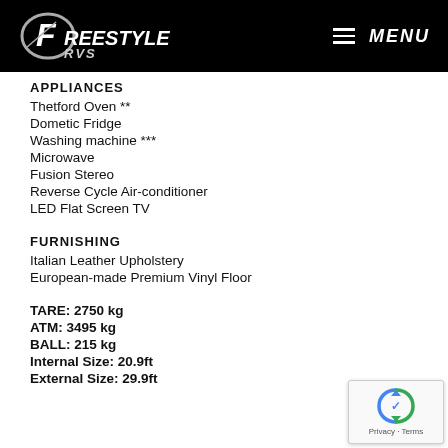FREESTYLERVS — MENU
APPLIANCES
Thetford Oven **
Dometic Fridge
Washing machine ***
Microwave
Fusion Stereo
Reverse Cycle Air-conditioner
LED Flat Screen TV
FURNISHING
Italian Leather Upholstery
European-made Premium Vinyl Floor
TARE: 2750 kg
ATM: 3495 kg
BALL: 215 kg
Internal Size: 20.9ft
External Size: 29.9ft